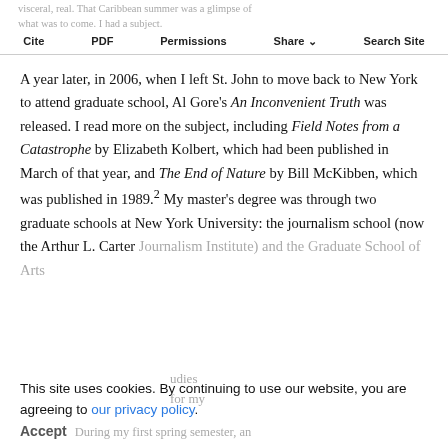visceral, real. That Caribbean summer was a glimpse of what was to come. I had a subject. | Cite | PDF | Permissions | Share | Search Site
A year later, in 2006, when I left St. John to move back to New York to attend graduate school, Al Gore's An Inconvenient Truth was released. I read more on the subject, including Field Notes from a Catastrophe by Elizabeth Kolbert, which had been published in March of that year, and The End of Nature by Bill McKibben, which was published in 1989.² My master's degree was through two graduate schools at New York University: the journalism school (now the Arthur L. Carter Journalism Institute) and the Graduate School of Arts
This site uses cookies. By continuing to use our website, you are agreeing to our privacy policy. Accept During my first spring semester, an